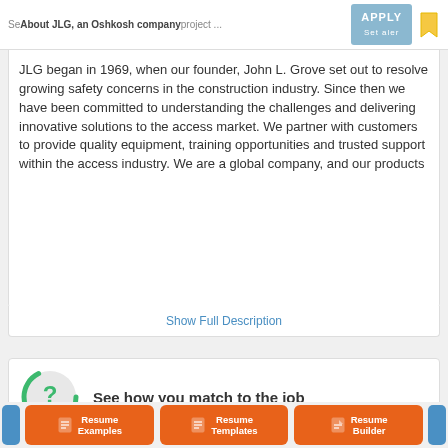Search JLG, an Oshkosh company ... About JLG, an Oshkosh company APPLY
Oshkosh Corp.
About JLG, an Oshkosh company
JLG began in 1969, when our founder, John L. Grove set out to resolve growing safety concerns in the construction industry. Since then we have been committed to understanding the challenges and delivering innovative solutions to the access market. We partner with customers to provide quality equipment, training opportunities and trusted support within the access industry. We are a global company, and our products
Show Full Description
See how you match to the job
Resume Examples
Resume Templates
Resume Builder